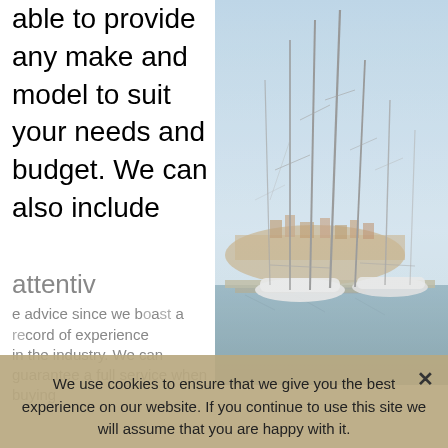able to provide any make and model to suit your needs and budget. We can also include attentive advice since we boast a record of experience in the industry. We can guarantee a full service when buying
[Figure (photo): Sailboats moored in a marina with tall masts against a blue sky and coastal buildings in the background]
We use cookies to ensure that we give you the best experience on our website. If you continue to use this site we will assume that you are happy with it.